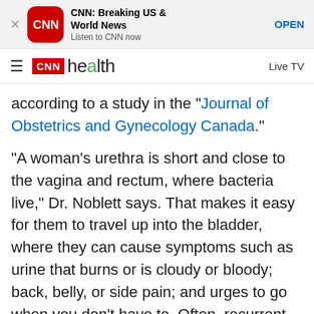[Figure (screenshot): CNN Breaking US & World News app advertisement banner with CNN logo, app icon, and OPEN button]
CNN health   Live TV
according to a study in the "Journal of Obstetrics and Gynecology Canada."
"A woman's urethra is short and close to the vagina and rectum, where bacteria live," Dr. Noblett says. That makes it easy for them to travel up into the bladder, where they can cause symptoms such as urine that burns or is cloudy or bloody; back, belly, or side pain; and urges to go when you don't have to. Often, recurrent UTIs are linked to having sex. Being in perimenopause or menopause can make you more vulnerable to them, too.